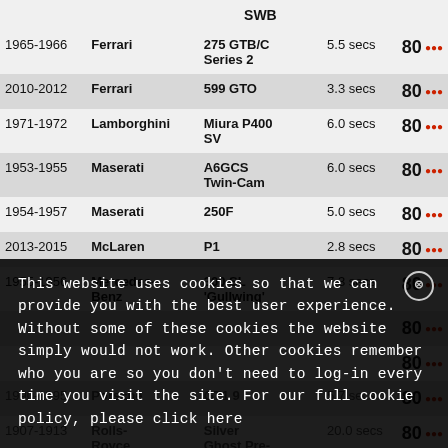| Year | Make | Model | 0-60 | Score |
| --- | --- | --- | --- | --- |
| 1965-1966 | Ferrari | 275 GTB/C Series 2 | 5.5 secs | 80 ••• |
| 2010-2012 | Ferrari | 599 GTO | 3.3 secs | 80 ••• |
| 1971-1972 | Lamborghini | Miura P400 SV | 6.0 secs | 80 ••• |
| 1953-1955 | Maserati | A6GCS Twin-Cam | 6.0 secs | 80 ••• |
| 1954-1957 | Maserati | 250F | 5.0 secs | 80 ••• |
| 2013-2015 | McLaren | P1 | 2.8 secs | 80 ••• |
| 1955-1956 | Mercedes-Benz | 300 SL 'Gullwing' | 7.3 secs | 80 ••• |
| ... | ... | ... | ... | 80 ••• |
| ... | ... | ... | ... | 80 ••• |
| 1990-1995 | Porsche | GT1 9 | 5.7 secs | 80 ••• |
| 1907-1913 | Rolls-Royce | Silver Ghost Pre-WW1 | 20.0 secs | 80 ••• |
This website uses cookies so that we can provide you with the best user experience. Without some of these cookies the website simply would not work. Other cookies remember who you are so you don't need to log-in every time you visit the site. For our full cookie policy, please click here